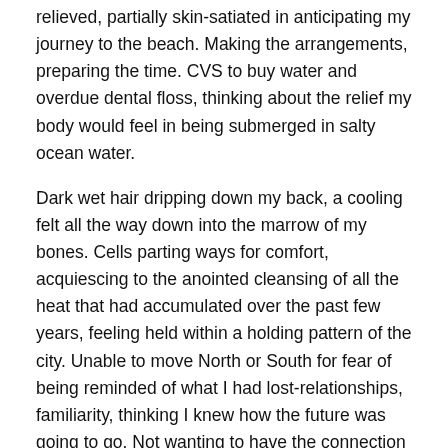relieved, partially skin-satiated in anticipating my journey to the beach. Making the arrangements, preparing the time. CVS to buy water and overdue dental floss, thinking about the relief my body would feel in being submerged in salty ocean water.
Dark wet hair dripping down my back, a cooling felt all the way down into the marrow of my bones. Cells parting ways for comfort, acquiescing to the anointed cleansing of all the heat that had accumulated over the past few years, feeling held within a holding pattern of the city. Unable to move North or South for fear of being reminded of what I had lost-relationships, familiarity, thinking I knew how the future was going to go. Not wanting to have the connection to myself and my life now go slipping through my fingers.
This is a partial, if only, ripple action, but it the...